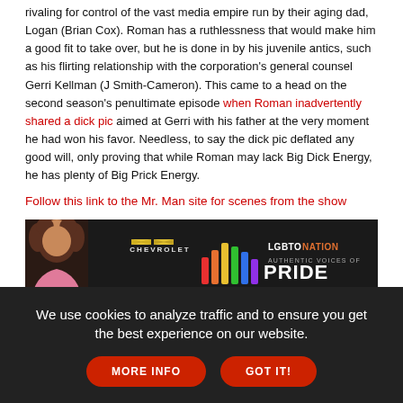rivaling for control of the vast media empire run by their aging dad, Logan (Brian Cox). Roman has a ruthlessness that would make him a good fit to take over, but he is done in by his juvenile antics, such as his flirting relationship with the corporation's general counsel Gerri Kellman (J Smith-Cameron). This came to a head on the second season's penultimate episode when Roman inadvertently shared a dick pic aimed at Gerri with his father at the very moment he had won his favor. Needless, to say the dick pic deflated any good will, only proving that while Roman may lack Big Dick Energy, he has plenty of Big Prick Energy.
Follow this link to the Mr. Man site for scenes from the show
[Figure (infographic): Advertisement banner: Chevrolet and LGBTO Nation Authentic Voices of Pride. Dark background with a person on the left, Chevrolet bowtie logo in the center, and colorful bar chart icon with LGBTO Nation Authentic Voices of Pride text on the right.]
'Scenes from a Marriage'
We use cookies to analyze traffic and to ensure you get the best experience on our website. MORE INFO GOT IT!